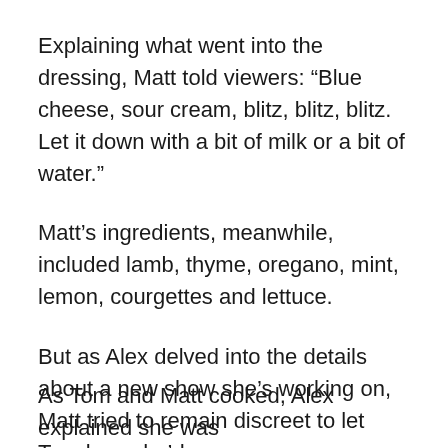Explaining what went into the dressing, Matt told viewers: “Blue cheese, sour cream, blitz, blitz, blitz. Let it down with a bit of milk or a bit of water.”
Matt’s ingredients, meanwhile, included lamb, thyme, oregano, mint, lemon, courgettes and lettuce.
But as Alex delved into the details about a new show she’s working on, Matt tried to remain discreet to let Tom know he’d gone wrong – although eventually called him out in front of everyone.
As Tom and Matt cooked, Alex explained she was